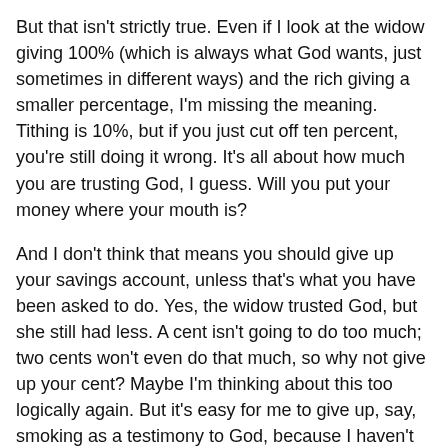But that isn't strictly true. Even if I look at the widow giving 100% (which is always what God wants, just sometimes in different ways) and the rich giving a smaller percentage, I'm missing the meaning. Tithing is 10%, but if you just cut off ten percent, you're still doing it wrong. It's all about how much you are trusting God, I guess. Will you put your money where your mouth is?
And I don't think that means you should give up your savings account, unless that's what you have been asked to do. Yes, the widow trusted God, but she still had less. A cent isn't going to do too much; two cents won't even do that much, so why not give up your cent? Maybe I'm thinking about this too logically again. But it's easy for me to give up, say, smoking as a testimony to God, because I haven't smoked, don't want to smoke, and have asthma so I don't really want to make my lungs worse. It's harder to give up something you have more of, too.
Maybe that's not the best example. But it's easy to throw a quarter in the offering because you can't do too much with it,